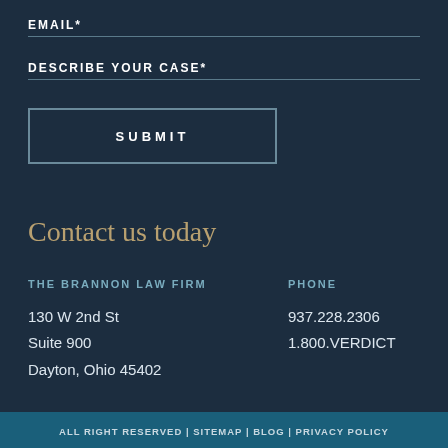EMAIL*
DESCRIBE YOUR CASE*
SUBMIT
Contact us today
THE BRANNON LAW FIRM
130 W 2nd St
Suite 900
Dayton, Ohio 45402
PHONE
937.228.2306
1.800.VERDICT
ALL RIGHT RESERVED | SITEMAP | BLOG | PRIVACY POLICY